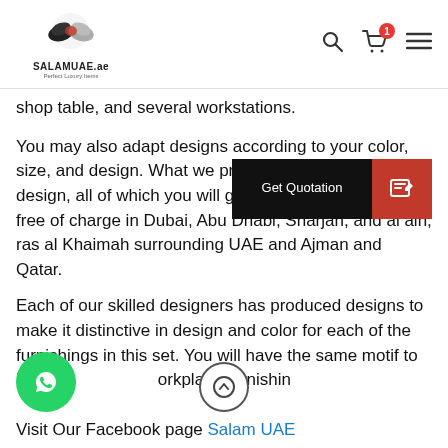SALAMUAE.ae - Perfect Luxury Items
shop table, and several workstations.
You may also adapt designs according to your color, size, and design. What we provide is a hi… design, all of which you will get sho… office equipment free of charge in Dubai, Abu Dhabi, Sharjah, and al ain, ras al Khaimah surrounding UAE and Ajman and Qatar.
Each of our skilled designers has produced designs to make it distinctive in design and color for each of the furnishings in this set. You will have the same motif to be e… orkplace furnishin…
Visit Our Facebook page Salam UAE